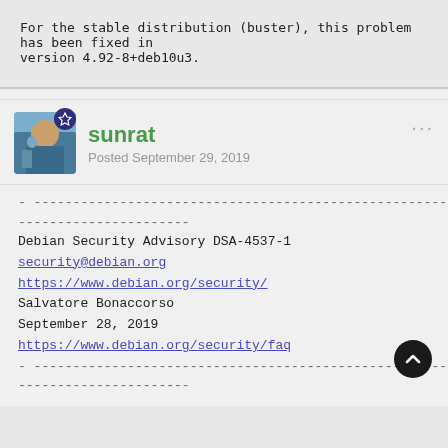For the stable distribution (buster), this problem has been fixed in version 4.92-8+deb10u3.
sunrat
Posted September 29, 2019
- --------------------------------------------------------------------------------
Debian Security Advisory DSA-4537-1
security@debian.org
https://www.debian.org/security/
Salvatore Bonaccorso
September 28, 2019
https://www.debian.org/security/faq
- --------------------------------------------------------------------------------